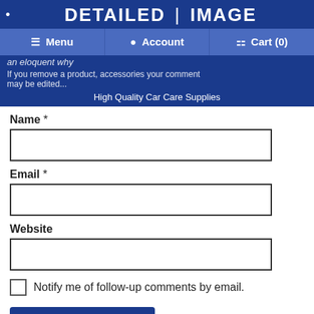[Figure (screenshot): Detailed Image website header with logo, navigation buttons (Menu, Account, Cart), and tagline 'High Quality Car Care Supplies']
Name *
Email *
Website
Notify me of follow-up comments by email.
Post Comment
Safe, Secure Checkout | My Offers